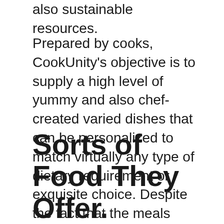also sustainable resources.
Prepared by cooks, CookUnity’s objective is to supply a high level of yummy and also chef-created varied dishes that can be personalized to match virtually any type of dietary requirement or exquisite choice. Despite the fact that the meals offered are not customized, the signs on top of the food selection page aid you in customizing to your specific needs by allowing you to select from reduced sodium, vegan, paleo, and also gluten-free alternatives, to name a few instances of what is available.
Sorts of Food They Offer.